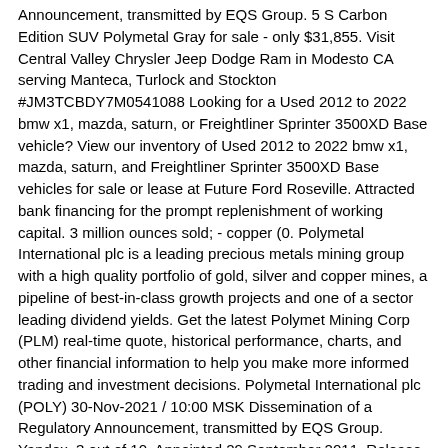Announcement, transmitted by EQS Group. 5 S Carbon Edition SUV Polymetal Gray for sale - only $31,855. Visit Central Valley Chrysler Jeep Dodge Ram in Modesto CA serving Manteca, Turlock and Stockton #JM3TCBDY7M0541088 Looking for a Used 2012 to 2022 bmw x1, mazda, saturn, or Freightliner Sprinter 3500XD Base vehicle? View our inventory of Used 2012 to 2022 bmw x1, mazda, saturn, and Freightliner Sprinter 3500XD Base vehicles for sale or lease at Future Ford Roseville. Attracted bank financing for the prompt replenishment of working capital. 3 million ounces sold; - copper (0. Polymetal International plc is a leading precious metals mining group with a high quality portfolio of gold, silver and copper mines, a pipeline of best-in-class growth projects and one of a sector leading dividend yields. Get the latest Polymet Mining Corp (PLM) real-time quote, historical performance, charts, and other financial information to help you make more informed trading and investment decisions. Polymetal International plc (POLY) 30-Nov-2021 / 10:00 MSK Dissemination of a Regulatory Announcement, transmitted by EQS Group. Yandex. 3 out of 10. Appointed 29 September 2011. Release time IMMEDIATE LSE, MOEX, AIX: POLY / ADR: AUCOY Date 8 April 2022 Polymetal International plc Resignation of Auditor Polymetal announces . Polymetal's production of gold equivalent fell by 6% to 372,000 troy ounces in the first quarter, the company said, adding that it was on track to produce 1. Visit Mazda of Gastonia in Gastonia #NC serving